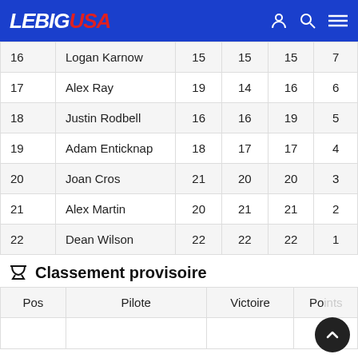LEBIGUSA
|  |  |  |  |  |  |
| --- | --- | --- | --- | --- | --- |
| 16 | Logan Karnow | 15 | 15 | 15 | 7 |
| 17 | Alex Ray | 19 | 14 | 16 | 6 |
| 18 | Justin Rodbell | 16 | 16 | 19 | 5 |
| 19 | Adam Enticknap | 18 | 17 | 17 | 4 |
| 20 | Joan Cros | 21 | 20 | 20 | 3 |
| 21 | Alex Martin | 20 | 21 | 21 | 2 |
| 22 | Dean Wilson | 22 | 22 | 22 | 1 |
Classement provisoire
| Pos | Pilote | Victoire | Points |
| --- | --- | --- | --- |